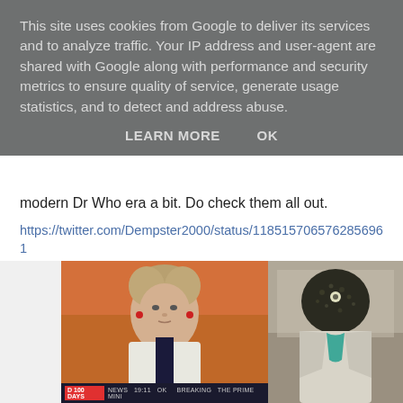This site uses cookies from Google to deliver its services and to analyze traffic. Your IP address and user-agent are shared with Google along with performance and security metrics to ensure quality of service, generate usage statistics, and to detect and address abuse.
LEARN MORE   OK
modern Dr Who era a bit. Do check them all out.
https://twitter.com/Dempster2000/status/1185157065762856961
[Figure (screenshot): A side-by-side image: on the left, a news broadcast screenshot showing an elderly woman with curly grey hair wearing a white jacket on a news program with a lower-third graphic reading 'D 100 DAYS' and 'NEWS 19:11 OK BREAKING THE PRIME MINI...', with a TV label 'ootminator' in top left; on the right, a figure dressed in a textured dark suit with a greenish tie, resembling a fictional creature or character from Dr Who.]